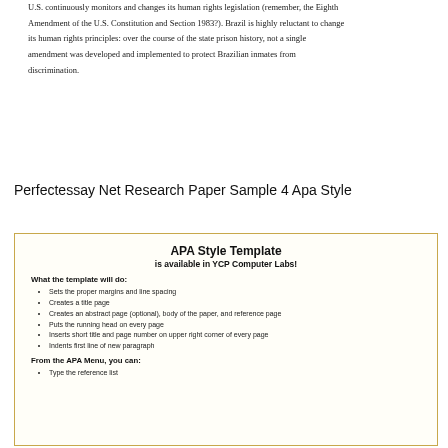U.S. continuously monitors and changes its human rights legislation (remember, the Eighth Amendment of the U.S. Constitution and Section 1983?). Brazil is highly reluctant to change its human rights principles: over the course of the state prison history, not a single amendment was developed and implemented to protect Brazilian inmates from discrimination.
Perfectessay Net Research Paper Sample 4 Apa Style
APA Style Template
is available in YCP Computer Labs!
What the template will do:
Sets the proper margins and line spacing
Creates a title page
Creates an abstract page (optional), body of the paper, and reference page
Puts the running head on every page
Inserts short title and page number on upper right corner of every page
Indents first line of new paragraph
From the APA Menu, you can:
Type the reference list